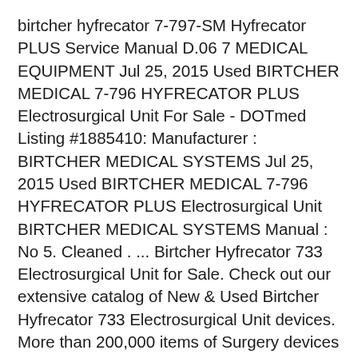birtcher hyfrecator 7-797-SM Hyfrecator PLUS Service Manual D.06 7 MEDICAL EQUIPMENT Jul 25, 2015 Used BIRTCHER MEDICAL 7-796 HYFRECATOR PLUS Electrosurgical Unit For Sale - DOTmed Listing #1885410: Manufacturer : BIRTCHER MEDICAL SYSTEMS Jul 25, 2015 Used BIRTCHER MEDICAL 7-796 HYFRECATOR PLUS Electrosurgical Unit BIRTCHER MEDICAL SYSTEMS Manual : No 5. Cleaned . ... Birtcher Hyfrecator 733 Electrosurgical Unit for Sale. Check out our extensive catalog of New & Used Birtcher Hyfrecator 733 Electrosurgical Unit devices. More than 200,000 items of Surgery devices & medical equipment. 637661373